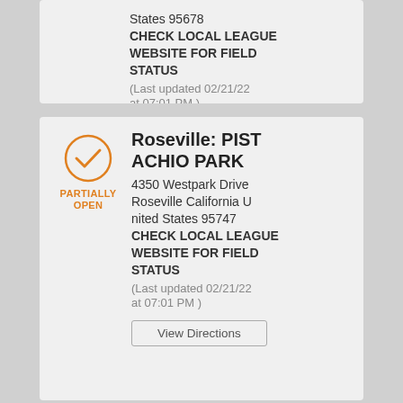States 95678 CHECK LOCAL LEAGUE WEBSITE FOR FIELD STATUS (Last updated 02/21/22 at 07:01 PM )
View Directions
Roseville: PISTACHIO PARK
4350 Westpark Drive Roseville California United States 95747 CHECK LOCAL LEAGUE WEBSITE FOR FIELD STATUS (Last updated 02/21/22 at 07:01 PM )
View Directions